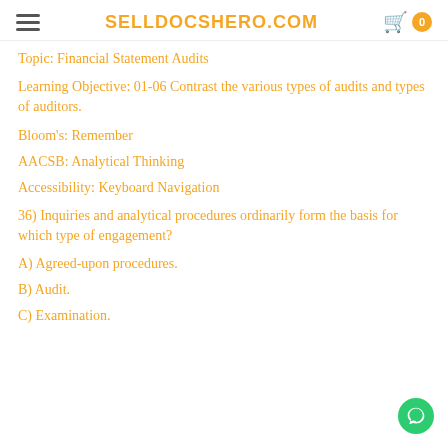SELLDOCSHERO.COM
Topic: Financial Statement Audits
Learning Objective: 01-06 Contrast the various types of audits and types of auditors.
Bloom's: Remember
AACSB: Analytical Thinking
Accessibility: Keyboard Navigation
36) Inquiries and analytical procedures ordinarily form the basis for which type of engagement?
A) Agreed-upon procedures.
B) Audit.
C) Examination.